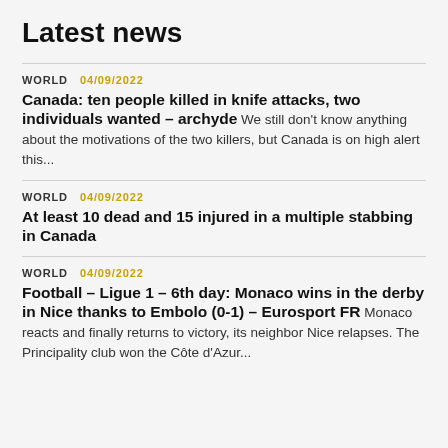Latest news
WORLD 04/09/2022
Canada: ten people killed in knife attacks, two individuals wanted – archyde We still don't know anything about the motivations of the two killers, but Canada is on high alert this...
WORLD 04/09/2022
At least 10 dead and 15 injured in a multiple stabbing in Canada
WORLD 04/09/2022
Football – Ligue 1 – 6th day: Monaco wins in the derby in Nice thanks to Embolo (0-1) – Eurosport FR Monaco reacts and finally returns to victory, its neighbor Nice relapses. The Principality club won the Côte d'Azur...